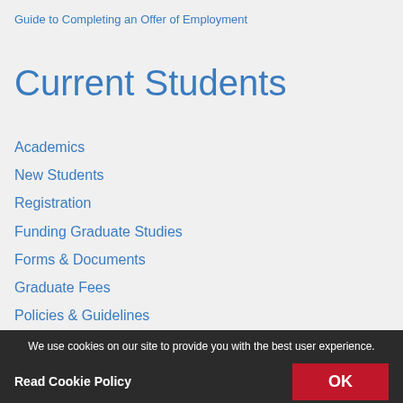Guide to Completing an Offer of Employment
Current Students
Academics
New Students
Registration
Funding Graduate Studies
Forms & Documents
Graduate Fees
Policies & Guidelines
International Students
English Language Support
Completion and Graduation
Resources for Graduate Students
Faculty & Staff
We use cookies on our site to provide you with the best user experience.
Read Cookie Policy
OK